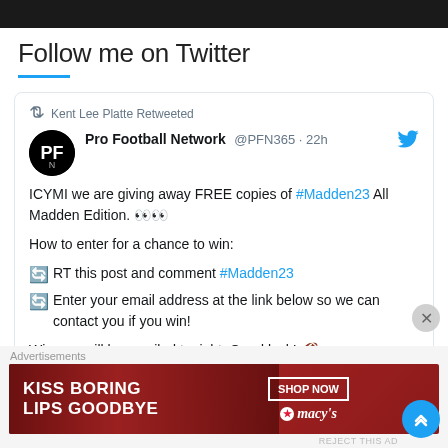Follow me on Twitter
[Figure (screenshot): Tweet card from Pro Football Network (@PFN365) retweeted by Kent Lee Platte, 22h ago. Tweet announces a giveaway of FREE copies of #Madden23 All Madden Edition. Instructions: RT and comment #Madden23, enter email at link. Winners emailed tonight. Good luck!]
Advertisements
[Figure (photo): Macy's advertisement banner with lipstick model. Text: KISS BORING LIPS GOODBYE. SHOP NOW. macys logo with star.]